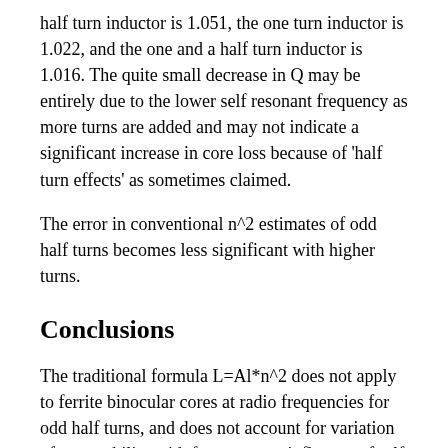half turn inductor is 1.051, the one turn inductor is 1.022, and the one and a half turn inductor is 1.016. The quite small decrease in Q may be entirely due to the lower self resonant frequency as more turns are added and may not indicate a significant increase in core loss because of 'half turn effects' as sometimes claimed.
The error in conventional n^2 estimates of odd half turns becomes less significant with higher turns.
Conclusions
The traditional formula L=Al*n^2 does not apply to ferrite binocular cores at radio frequencies for odd half turns, and does not account for variation of permeability with frequency or influence of self